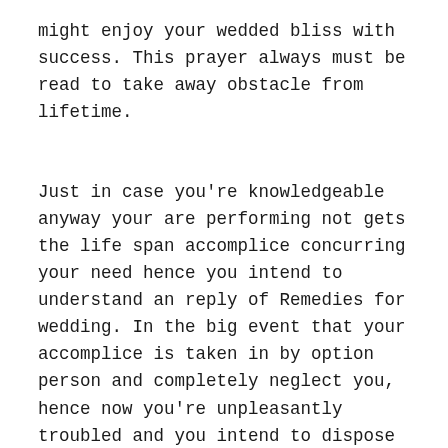might enjoy your wedded bliss with success. This prayer always must be read to take away obstacle from lifetime.
Just in case you're knowledgeable anyway your are performing not gets the life span accomplice concurring your need hence you intend to understand an reply of Remedies for wedding. In the big event that your accomplice is taken in by option person and completely neglect you, hence now you're unpleasantly troubled and you intend to dispose of option one which got your accomplice. In the event you would love to wedding agreeing your wish however your oldsters aren't arranged with this wedding than you are endeavoring the